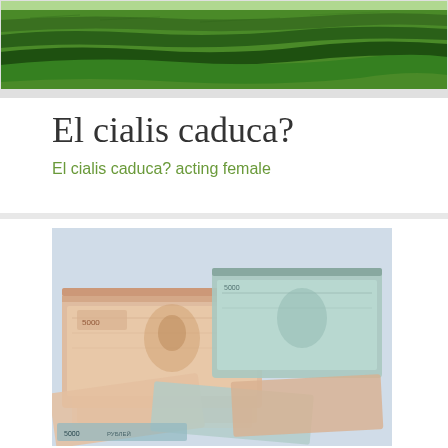[Figure (photo): Aerial view of green terraced agricultural fields or hills, used as a banner/header image at the top of the page.]
El cialis caduca?
El cialis caduca? acting female
[Figure (photo): Photograph of stacks of Russian ruble banknotes (5000 ruble notes) scattered and piled up.]